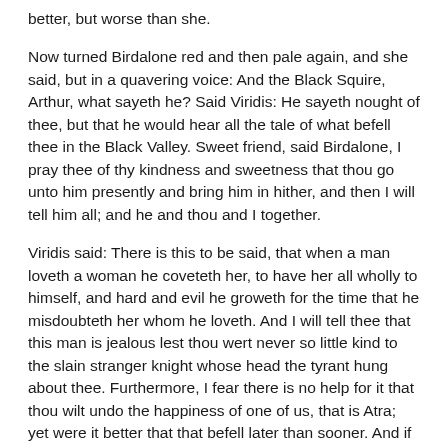better, but worse than she.
Now turned Birdalone red and then pale again, and she said, but in a quavering voice: And the Black Squire, Arthur, what sayeth he? Said Viridis: He sayeth nought of thee, but that he would hear all the tale of what befell thee in the Black Valley. Sweet friend, said Birdalone, I pray thee of thy kindness and sweetness that thou go unto him presently and bring him in hither, and then I will tell him all; and he and thou and I together.
Viridis said: There is this to be said, that when a man loveth a woman he coveteth her, to have her all wholly to himself, and hard and evil he groweth for the time that he misdoubteth her whom he loveth. And I will tell thee that this man is jealous lest thou wert never so little kind to the slain stranger knight whose head the tyrant hung about thee. Furthermore, I fear there is no help for it that thou wilt undo the happiness of one of us, that is Atra; yet were it better that that befell later than sooner. And if Sir Arthur come in here to thee, and hath thy tale with none beside save me, meseems the poor Atra will feel a bitter smart because of it. Were it not better that we all meet presently in the solar, and that there thou tell thy tale to us all? and thereafter shall we tell the tale of our deliverance and our coming hither. And thus doing, it will seem